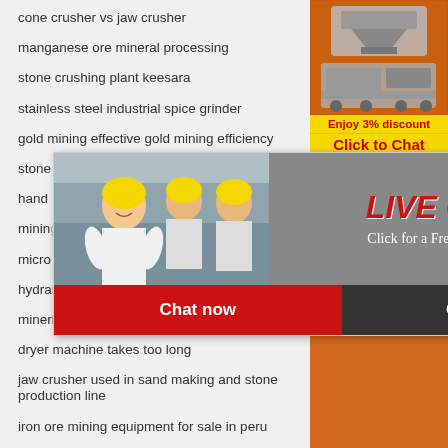cone crusher vs jaw crusher
manganese ore mineral processing
stone crushing plant keesara
stainless steel industrial spice grinder
gold mining effective gold mining efficiency
stone crusher plant in chile
hand ...
mining ...
micro ...
hydra ...
minerio de ferro esmagando fabricante planta...
dryer machine takes too long
jaw crusher used in sand making and stone production line
iron ore mining equipment for sale in peru
is lime stone and gypsum used in cement
[Figure (screenshot): Right sidebar with orange background showing mining/crushing machinery images, discount offer 'Enjoy 3% discount', 'Click to Chat' button, 'Enquiry' section, and email limingjlmofen@sina.com]
[Figure (screenshot): Live chat popup overlay showing workers in hard hats, LIVE CHAT text in red italic, 'Click for a Free Consultation' subtitle, Chat now (red) and Chat later (dark) buttons, and a close X button]